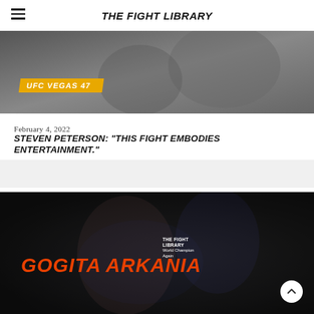THE FIGHT LIBRARY
[Figure (photo): Black and white photo of MMA fighter in action with a yellow diagonal banner reading 'UFC VEGAS 47' at the bottom left]
February 4, 2022
STEVEN PETERSON: "THIS FIGHT EMBODIES ENTERTAINMENT."
[Figure (photo): Dark background photo of a karate/martial arts fighter with large orange text 'GOGITA ARKANIA' overlaid, with 'THE FIGHT LIBRARY World Champion Again' badge text to the right, and a scroll-to-top button in the bottom right corner]